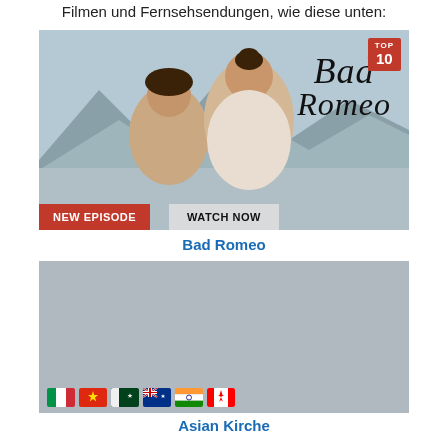Filmen und Fernsehsendungen, wie diese unten:
[Figure (photo): Promotional image for 'Bad Romeo' TV show with two actors and TOP 10 badge, NEW EPISODE and WATCH NOW buttons]
Bad Romeo
[Figure (photo): Second show promotional image with gray placeholder and country flags (Italy, Hong Kong/China, Pakistan, Australia, India, Canada) at bottom]
Asian Kirche